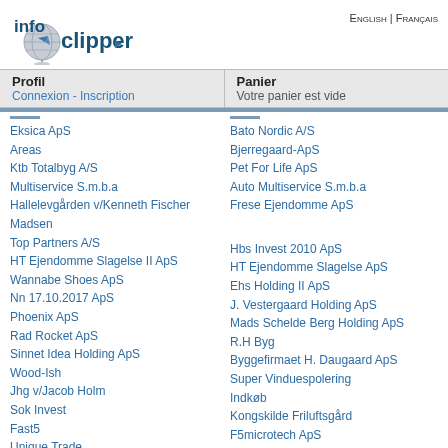[Figure (logo): Info Clipper logo with globe icon]
English | Français
| Profil | Panier |
| --- | --- |
| Connexion - Inscription | Votre panier est vide |
Eksica ApS
Bato Nordic A/S
Areas
Bjerregaard-ApS
Ktb Totalbyg A/S
Pet For Life ApS
Multiservice S.m.b.a
Auto Multiservice S.m.b.a
Hallelevgården v/Kenneth Fischer Madsen
Frese Ejendomme ApS
Top Partners A/S
Hbs Invest 2010 ApS
HT Ejendomme Slagelse II ApS
HT Ejendomme Slagelse ApS
Wannabe Shoes ApS
Ehs Holding II ApS
Nn 17.10.2017 ApS
J. Vestergaard Holding ApS
Phoenix ApS
Mads Schelde Berg Holding ApS
Rad Rocket ApS
R.H Byg
Sinnet Idea Holding ApS
Byggefirmaet H. Daugaard ApS
Wood-Ish
Super Vinduespolering
Jhg v/Jacob Holm
Indkøb
Sok Invest
Kongskilde Friluftsgård
Fast5
F5microtech ApS
Unique Trade
My Pen
Trelleborg Spejderne
Trelleborg If
Patriarklejr Nr. 16, Trelleborg
Trelleborg Entreprise
Y's Men Trelleborg/Storstrømmen
Winners Ohana Aerial I/S